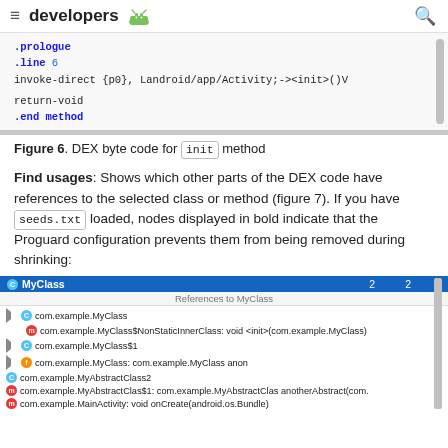developers [android logo]
[Figure (screenshot): Code snippet showing DEX byte code: .prologue, .line 6, invoke-direct {p0}, Landroid/app/Activity;-><init>()V, return-void, .end method]
Figure 6. DEX byte code for init method
Find usages: Shows which other parts of the DEX code have references to the selected class or method (figure 7). If you have seeds.txt loaded, nodes displayed in bold indicate that the Proguard configuration prevents them from being removed during shrinking:
[Figure (screenshot): References panel showing MyClass with 2 references. Entries: com.example.MyClass, com.example.MyClass$NonStaticInnerClass: void <init>(com.example.MyClass), com.example.MyClass$1, com.example.MyClass: com.example.MyClass anon, com.example.MyAbstractClass2, com.example.MyAbstractClas$1: com.example.MyAbstractClas anotherAbstract(com.), com.example.MainActivity: void onCreate(android.os.Bundle)]